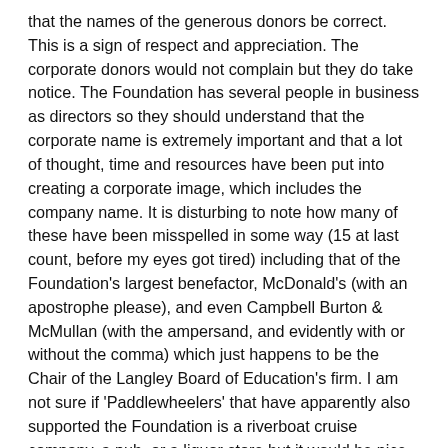that the names of the generous donors be correct. This is a sign of respect and appreciation. The corporate donors would not complain but they do take notice. The Foundation has several people in business as directors so they should understand that the corporate name is extremely important and that a lot of thought, time and resources have been put into creating a corporate image, which includes the company name. It is disturbing to note how many of these have been misspelled in some way (15 at last count, before my eyes got tired) including that of the Foundation's largest benefactor, McDonald's (with an apostrophe please), and even Campbell Burton & McMullan (with the ampersand, and evidently with or without the comma) which just happens to be the Chair of the Langley Board of Education's firm. I am not sure if 'Paddlewheelers' that have apparently also supported the Foundation is a riverboat cruise company, a pub, or a liquor store but it would be nice to give acknowledgment to where it is appropriately due and not elsewhere. The School District spent so much money on behalf of the Foundation on a colour brochure that one would have expected that they would have invested in a spell-checker and an expert proofreader. This is not being fussy; it is about respect and